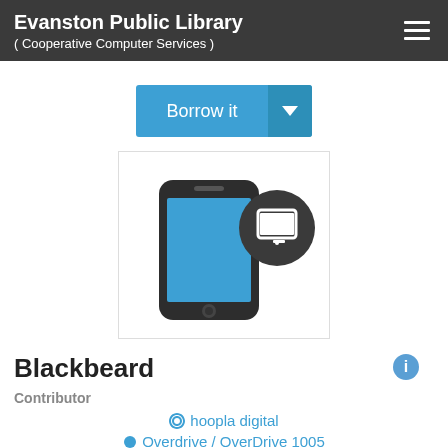Evanston Public Library
( Cooperative Computer Services )
[Figure (screenshot): Borrow it button with dropdown arrow in blue]
[Figure (illustration): Smartphone icon with a tablet/eReader badge icon overlapping]
Blackbeard
Contributor
hoopla digital
Overdrive / OverDrive 1005